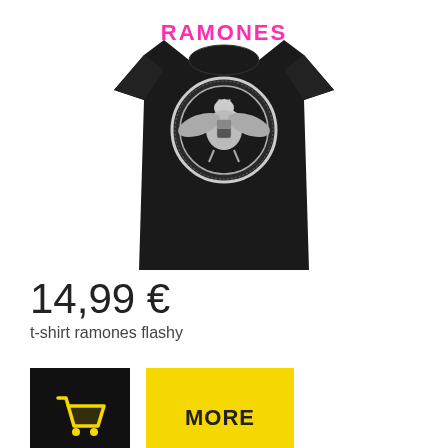[Figure (photo): Black Ramones t-shirt with pink RAMONES text and eagle logo seal on the front, displayed on white background]
14,99 €
t-shirt ramones flashy
[Figure (other): Black square button with yellow shopping cart icon, and a yellow square button with text MORE]